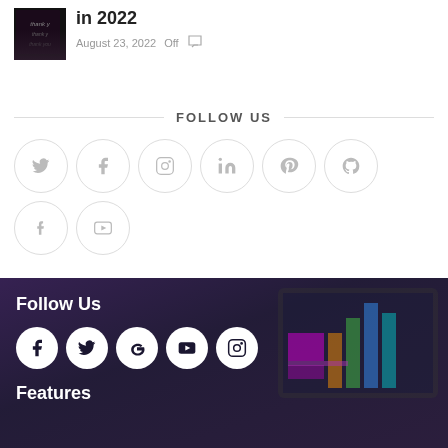[Figure (photo): Thumbnail image with dark background and decorative text]
in 2022
August 23, 2022   Off
FOLLOW US
[Figure (infographic): Social media icon circles: Twitter, Facebook, Instagram, LinkedIn, Pinterest, GitHub, Tumblr, YouTube]
[Figure (photo): Dark purple/blue footer background with computer monitor image]
Follow Us
[Figure (infographic): White social media icon circles on dark background: Facebook, Twitter, Google+, YouTube, Instagram]
Features